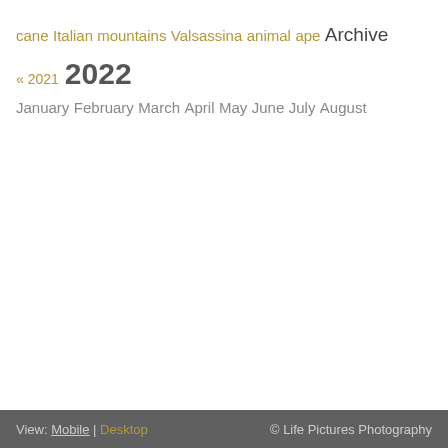cane
Italian mountains
Valsassina
animal
ape
Archive
« 2021  2022
January
February
March
April
May
June
July
August
View: Mobile | Desktop   © Life Pictures Photography